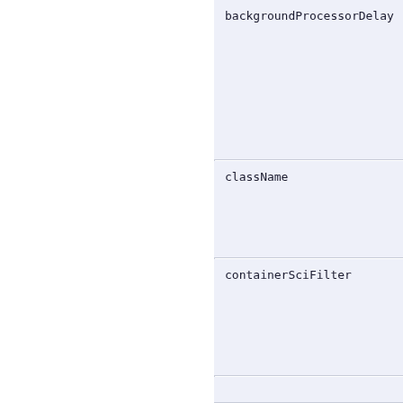| attribute |
| --- |
| backgroundProcessorDelay |
| className |
| containerSciFilter |
|  |